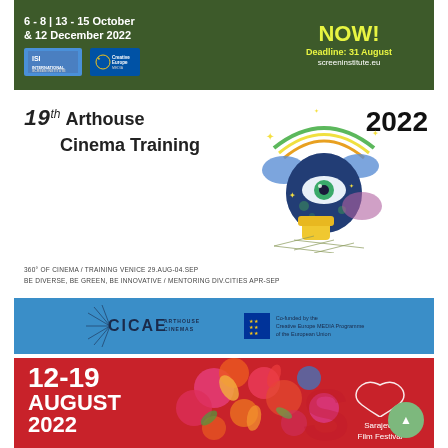[Figure (illustration): Dark green banner with dates '6-8 | 13-15 October & 12 December 2022', ISI and Creative Europe logos on left, 'NOW! Deadline: 31 August screeninstitute.eu' in yellow/white text on right]
[Figure (illustration): 19th Arthouse Cinema Training 2022 promotional section with decorative eye/globe illustration, taglines '360° OF CINEMA / TRAINING VENICE 29.AUG-04.SEP' and 'BE DIVERSE, BE GREEN, BE INNOVATIVE / MENTORING DIV.CITIES APR-SEP']
[Figure (illustration): Blue banner with CICAE Arthouse Cinemas logo and EU Creative Europe co-funded badge]
[Figure (illustration): Red banner showing '12-19 AUGUST 2022' with Sarajevo Film Festival logo and floral decoration]